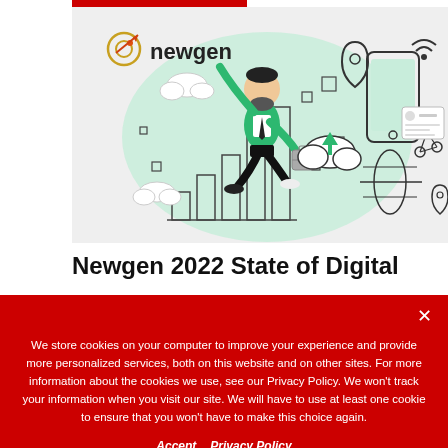[Figure (illustration): Newgen logo with a running businessman jumping, surrounded by digital icons: smartphone, globe, cloud upload arrow, location pin, wifi symbol, bar chart bars, and small squares. Light green blob background. Illustration for Newgen 2022 State of Digital report.]
Newgen 2022 State of Digital
We store cookies on your computer to improve your experience and provide more personalized services, both on this website and on other sites. For more information about the cookies we use, see our Privacy Policy. We won't track your information when you visit our site. We will have to use at least one cookie to ensure that you won't have to make this choice again.
Accept   Privacy Policy